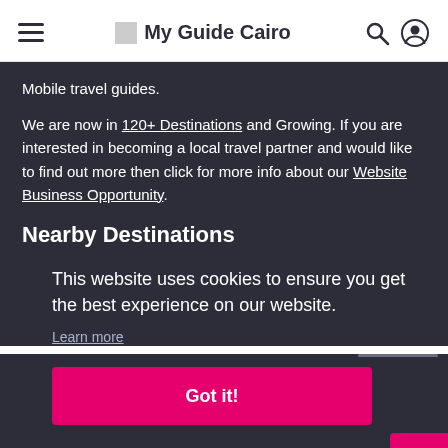My Guide Cairo
Mobile travel guides.
We are now in 120+ Destinations and Growing. If you are interested in becoming a local travel partner and would like to find out more then click for more info about our Website Business Opportunity.
Nearby Destinations
This website uses cookies to ensure you get the best experience on our website.
Learn more
Got it!